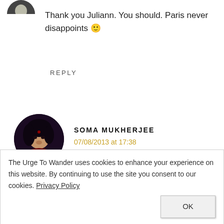[Figure (photo): Partial circular avatar photo at top left, partially cropped]
Thank you Juliann. You should. Paris never disappoints 🙂
REPLY
[Figure (photo): Circular avatar photo of Soma Mukherjee, woman with dark hair]
SOMA MUKHERJEE
07/08/2013 at 17:38
beautiful Pictures Madhu specially the giant sculpture 🙂 am happy you are having such a great time and it reflects
The Urge To Wander uses cookies to enhance your experience on this website. By continuing to use the site you consent to our cookies. Privacy Policy
OK